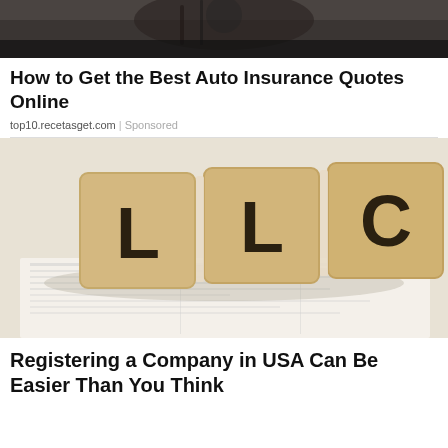[Figure (photo): Dark background photo showing a person, likely related to auto insurance]
How to Get the Best Auto Insurance Quotes Online
top10.recetasget.com | Sponsored
[Figure (photo): Three wooden letter blocks spelling LLC sitting on top of printed documents/spreadsheets]
Registering a Company in USA Can Be Easier Than You Think